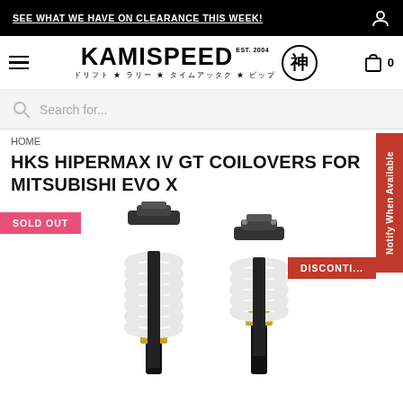SEE WHAT WE HAVE ON CLEARANCE THIS WEEK!
[Figure (logo): Kamispeed logo with EST. 2004, Japanese text, and circular emblem]
Search for...
HOME
HKS HIPERMAX IV GT COILOVERS FOR MITSUBISHI EVO X
SOLD OUT
DISCONTINUED
[Figure (photo): Two HKS Hipermax IV GT coilovers with white springs and gold/black bodies on white background]
Notify When Available